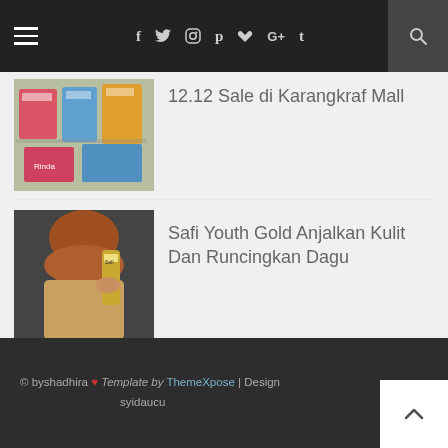Navigation bar with hamburger menu, social icons (f, Twitter, Instagram, Pinterest, heart, G+, Tumblr) and search
[Figure (photo): Thumbnail image of 12.12 Sale di Karangkraf Mall products]
12.12 Sale di Karangkraf Mall
[Figure (photo): Thumbnail image of woman holding Safi Youth Gold skincare products]
Safi Youth Gold Anjalkan Kulit Dan Runcingkan Dagu
[Figure (photo): Thumbnail image of TBF Leather Wallet with Card Holder by PTT Outdoor]
TBF Leather Wallet with Card Holder by PTT Outdoor
© byshadhira ❤ Template by ThemeXpose | Design syidaucu